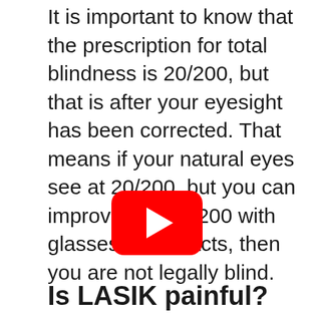It is important to know that the prescription for total blindness is 20/200, but that is after your eyesight has been corrected. That means if your natural eyes see at 20/200, but you can improve it to 80/200 with glasses or contacts, then you are not legally blind.
[Figure (screenshot): YouTube video player button (red rounded rectangle with white play triangle)]
Is LASIK painful?